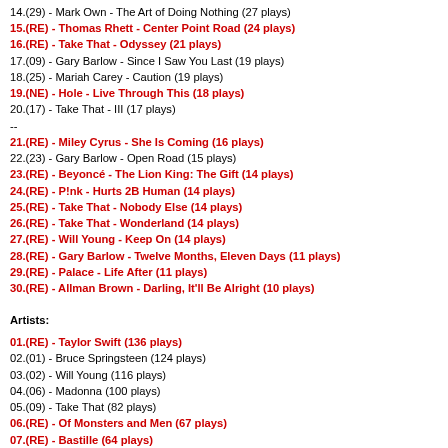14.(29) - Mark Own - The Art of Doing Nothing (27 plays)
15.(RE) - Thomas Rhett - Center Point Road (24 plays)
16.(RE) - Take That - Odyssey (21 plays)
17.(09) - Gary Barlow - Since I Saw You Last (19 plays)
18.(25) - Mariah Carey - Caution (19 plays)
19.(NE) - Hole - Live Through This (18 plays)
20.(17) - Take That - III (17 plays)
--
21.(RE) - Miley Cyrus - She Is Coming (16 plays)
22.(23) - Gary Barlow - Open Road (15 plays)
23.(RE) - Beyoncé - The Lion King: The Gift (14 plays)
24.(RE) - P!nk - Hurts 2B Human (14 plays)
25.(RE) - Take That - Nobody Else (14 plays)
26.(RE) - Take That - Wonderland (14 plays)
27.(RE) - Will Young - Keep On (14 plays)
28.(RE) - Gary Barlow - Twelve Months, Eleven Days (11 plays)
29.(RE) - Palace - Life After (11 plays)
30.(RE) - Allman Brown - Darling, It'll Be Alright (10 plays)
Artists:
01.(RE) - Taylor Swift (136 plays)
02.(01) - Bruce Springsteen (124 plays)
03.(02) - Will Young (116 plays)
04.(06) - Madonna (100 plays)
05.(09) - Take That (82 plays)
06.(RE) - Of Monsters and Men (67 plays)
07.(RE) - Bastille (64 plays)
08.(08) - Jonas Brothers (61 plays)